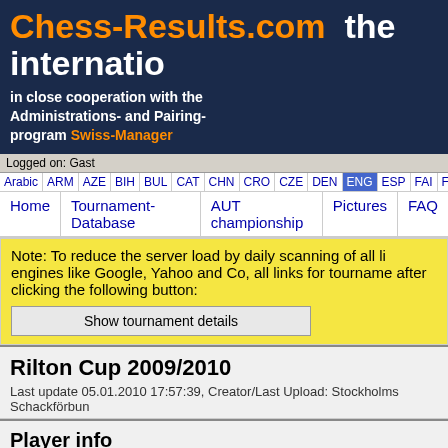Chess-Results.com  the internatio
in close cooperation with the Administrations- and Pairing-program Swiss-Manager
Logged on: Gast
Arabic | ARM | AZE | BIH | BUL | CAT | CHN | CRO | CZE | DEN | ENG | ESP | FAI | FIN | FRA | GER | GRE | INA
Home | Tournament-Database | AUT championship | Pictures | FAQ
Note: To reduce the server load by daily scanning of all li engines like Google, Yahoo and Co, all links for tourname after clicking the following button:
Rilton Cup 2009/2010
Last update 05.01.2010 17:57:39, Creator/Last Upload: Stockholms Schackförbun
Player info
| Field | Value |
| --- | --- |
| Name | Grandelius Nils |
| Title | IM |
| Starting rank | 11 |
| Rating | 2540 |
| Rating national | 2633 |
| Rating international | 2540 |